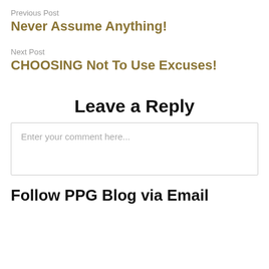Previous Post
Never Assume Anything!
Next Post
CHOOSING Not To Use Excuses!
Leave a Reply
Enter your comment here...
Follow PPG Blog via Email